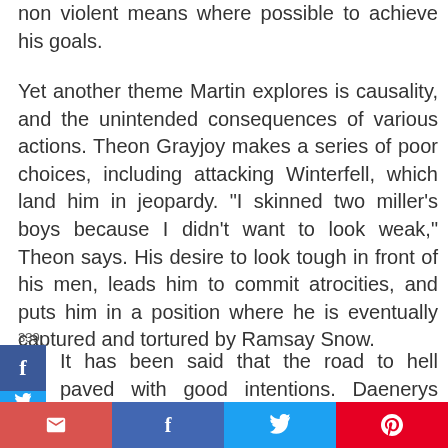non violent means where possible to achieve his goals.
Yet another theme Martin explores is causality, and the unintended consequences of various actions. Theon Grayjoy makes a series of poor choices, including attacking Winterfell, which land him in jeopardy. "I skinned two miller's boys because I didn't want to look weak," Theon says. His desire to look tough in front of his men, leads him to commit atrocities, and puts him in a position where he is eventually captured and tortured by Ramsay Snow.
339
It has been said that the road to hell paved with good intentions. Daenerys Targaryan is yet another character with no scruples about using violence and war to get what she wants. Though she seems to have noble motives, and she